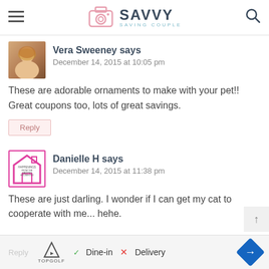Savvy Saving Couple
[Figure (photo): Profile photo of Vera Sweeney, a woman with blonde hair]
Vera Sweeney says
December 14, 2015 at 10:05 pm
These are adorable ornaments to make with your pet!! Great coupons too, lots of great savings.
Reply
[Figure (logo): Danielle H avatar: pink house outline with text HAPPENINGS FROM THE HARPER HOUSEHOLD]
Danielle H says
December 14, 2015 at 11:38 pm
These are just darling. I wonder if I can get my cat to cooperate with me... hehe.
Reply
Dine-in  Delivery (advertisement)